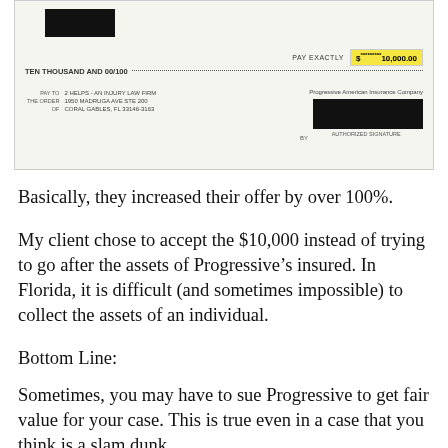[Figure (photo): Scanned check image from Progressive American Insurance Company made out to 2 Helps - An Injury Law Firm at 1950 Madruga Ave Ste 200, Coral Gables FL 33146-3163. Pay Exactly amount shown as $**********10,000.00 highlighted in yellow. The amount in words reads TEN THOUSAND AND 00/100. Authorized signature area is redacted.]
Basically, they increased their offer by over 100%.
My client chose to accept the $10,000 instead of trying to go after the assets of Progressive’s insured. In Florida, it is difficult (and sometimes impossible) to collect the assets of an individual.
Bottom Line:
Sometimes, you may have to sue Progressive to get fair value for your case. This is true even in a case that you think is a slam dunk.